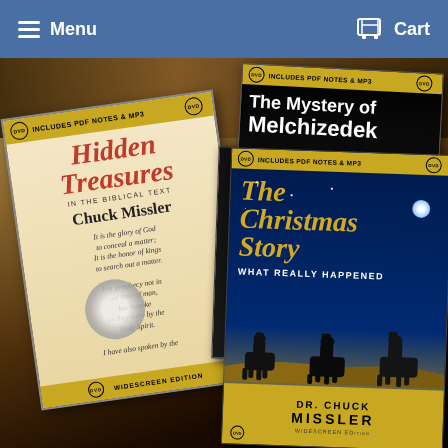≡ Menu   🛒 Cart
[Figure (photo): A collage of Chuck Missler DVD covers fanned out: 'Hidden Treasures in the Biblical Text', 'The Mystery of Melchizedek', 'The Christmas Story: What Really Happened', and a partially visible fourth DVD. Each DVD has a yellow top and bottom banner reading 'INCLUDES PDF NOTES & MP3' and 'DVD WIDESCREEN EDITION'.]